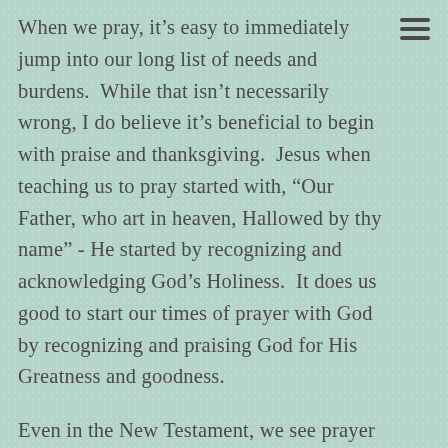When we pray, it's easy to immediately jump into our long list of needs and burdens.  While that isn't necessarily wrong, I do believe it's beneficial to begin with praise and thanksgiving.  Jesus when teaching us to pray started with, “Our Father, who art in heaven, Hallowed by thy name” - He started by recognizing and acknowledging God’s Holiness.  It does us good to start our times of prayer with God by recognizing and praising God for His Greatness and goodness.
Even in the New Testament, we see prayer and thanksgiving continually linked.  Colossians 4:2 says, “Devote yourselves to prayer, keeping alert in it with an attitude of thanksgiving.”